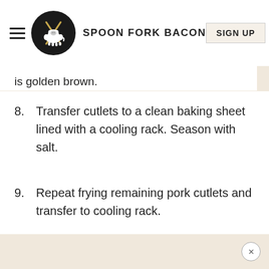SPOON FORK BACON — SIGN UP
is golden brown.
8. Transfer cutlets to a clean baking sheet lined with a cooling rack. Season with salt.
9. Repeat frying remaining pork cutlets and transfer to cooling rack.